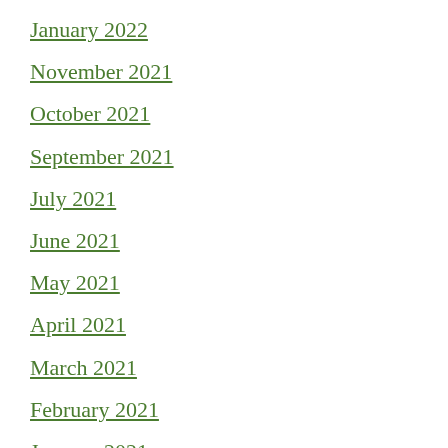January 2022
November 2021
October 2021
September 2021
July 2021
June 2021
May 2021
April 2021
March 2021
February 2021
January 2021